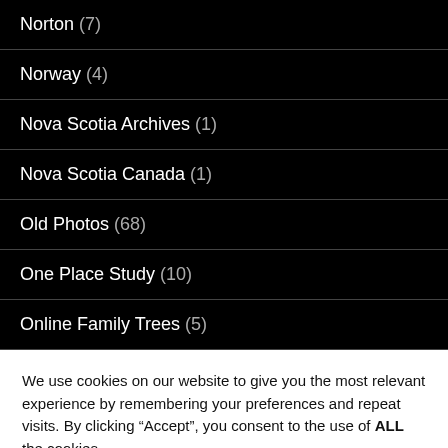Norton (7)
Norway (4)
Nova Scotia Archives (1)
Nova Scotia Canada (1)
Old Photos (68)
One Place Study (10)
Online Family Trees (5)
We use cookies on our website to give you the most relevant experience by remembering your preferences and repeat visits. By clicking “Accept”, you consent to the use of ALL the cookies. Do not sell my personal information.
Cookie settings   ACCEPT